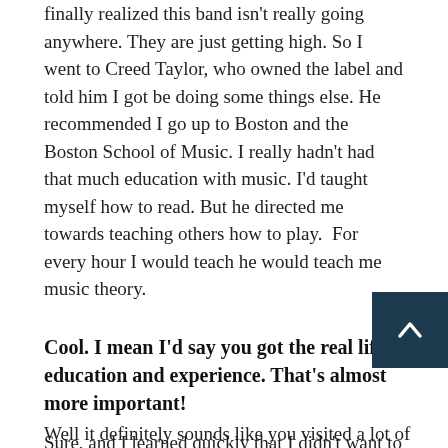finally realized this band isn't really going anywhere. They are just getting high. So I went to Creed Taylor, who owned the label and told him I got be doing some things else. He recommended I go up to Boston and the Boston School of Music. I really hadn't had that much education with music. I'd taught myself how to read. But he directed me towards teaching others how to play.  For every hour I would teach he would teach me music theory.
Cool. I mean I'd say you got the real life education and experience. That's almost more important!
Sure, and I learned quickly that I didn't want to be a teacher. I have to be a player.
Well it definitely sounds like you visited a lot of